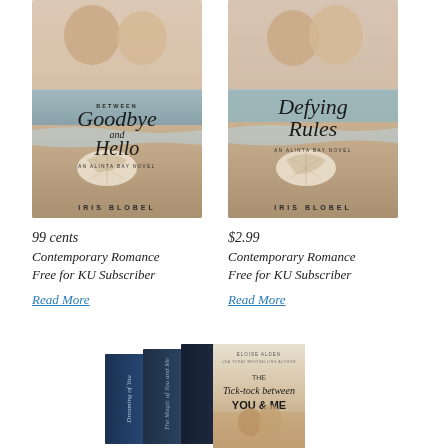[Figure (illustration): Book cover: 'Between Goodbye and Hello - An Alinta Bay Novel' by Iris Blobel. Beach setting with couple and shell.]
99 cents
Contemporary Romance
Free for KU Subscriber
Read More
[Figure (illustration): Book cover: 'Defying Rules - An Alinta Bay Novel' by Iris Blobel. Beach setting with couple and shell.]
$2.99
Contemporary Romance
Free for KU Subscriber
Read More
[Figure (illustration): Book cover stack: 'The Tick-tock between YOU & ME' by Eloise Alden along with other book covers stacked behind it.]